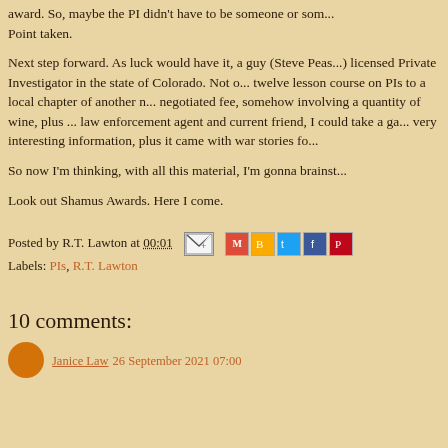award. So, maybe the PI didn't have to be someone of so... Point taken.
Next step forward. As luck would have it, a guy (Steve Peas... licensed Private Investigator in the state of Colorado. Not o... twelve lesson course on PIs to a local chapter of another n... negotiated fee, somehow involving a quantity of wine, plus ... law enforcement agent and current friend, I could take a ga... very interesting information, plus it came with war stories fo...
So now I'm thinking, with all this material, I'm gonna brainst...
Look out Shamus Awards. Here I come.
Posted by R.T. Lawton at 00:01
Labels: PIs, R.T. Lawton
10 comments:
Janice Law 26 September 2021 07:00